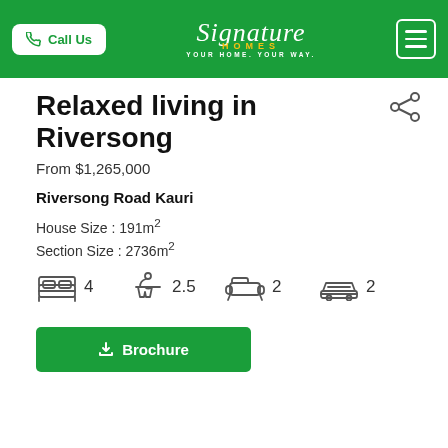[Figure (logo): Signature Homes logo with 'YOUR HOME. YOUR WAY.' tagline on green header bar, with Call Us button and hamburger menu]
Relaxed living in Riversong
From $1,265,000
Riversong Road Kauri
House Size : 191m²
Section Size : 2736m²
[Figure (infographic): Property icons: bed (4), bathroom (2.5), lounge (2), garage (2)]
Brochure